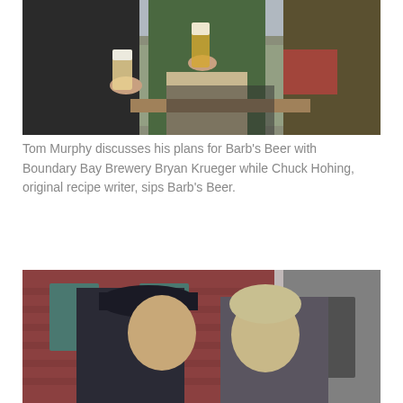[Figure (photo): Three people outdoors holding beer glasses, with chain-link fence and vehicles in background. One person in black hoodie holds a pint glass, center person in green jacket holds a beer, right person in brown/olive jacket.]
Tom Murphy discusses his plans for Barb's Beer with Boundary Bay Brewery Bryan Krueger while Chuck Hohing, original recipe writer, sips Barb's Beer.
[Figure (photo): Two men talking outdoors in front of a red brick building with teal/green windows. Left person wears a dark baseball cap and jacket, right person has blonde/grey hair.]